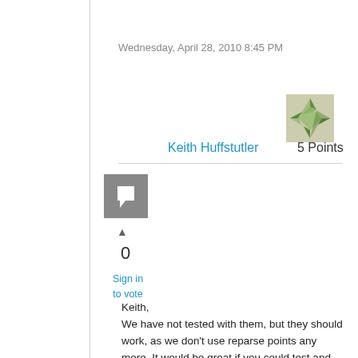Wednesday, April 28, 2010 8:45 PM
Keith Huffstutler   5 Points
[Figure (illustration): User avatar with green pinwheel/star pattern on dark background]
[Figure (illustration): Grey comment/flag icon square button]
▲
0
Sign in to vote
Keith,
We have not tested with them, but they should work, as we don't use reparse points any more. It would be great if you could test and report back.